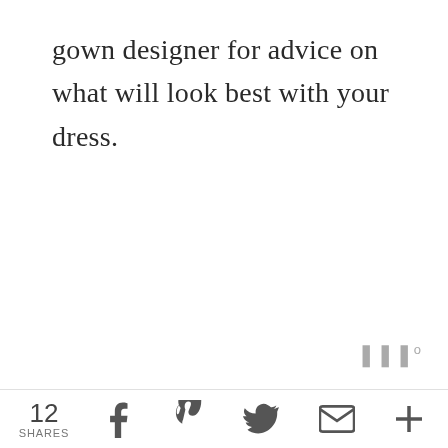gown designer for advice on what will look best with your dress.
12 SHARES | Facebook | Pinterest | Twitter | Email | Plus